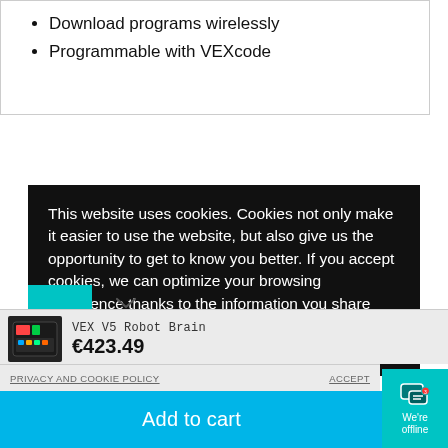Download programs wirelessly
Programmable with VEXcode
This website uses cookies. Cookies not only make it easier to use the website, but also give us the opportunity to get to know you better. If you accept cookies, we can optimize your browsing experience thanks to the information you share with us. Read more about cookies in our Privacy and
VEX V5 Robot Brain
€423.49
PRIVACY AND COOKIE POLICY    ACCEPT
Add to cart
We're offline